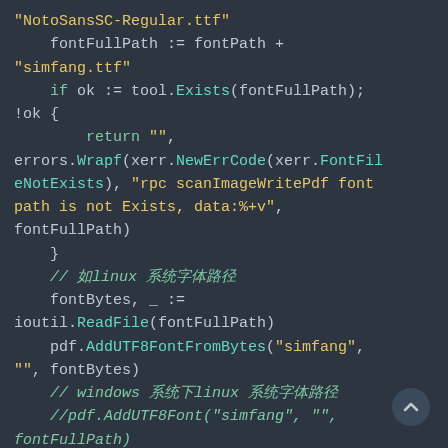[Figure (screenshot): Code snippet in a dark-themed editor showing Go language code for font file handling, including checks for font file existence, reading font bytes, and adding UTF8 fonts to a PDF object.]